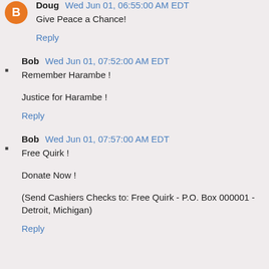Doug Wed Jun 01, 06:55:00 AM EDT
Give Peace a Chance!
Reply
Bob Wed Jun 01, 07:52:00 AM EDT
Remember Harambe !
Justice for Harambe !
Reply
Bob Wed Jun 01, 07:57:00 AM EDT
Free Quirk !
Donate Now !
(Send Cashiers Checks to: Free Quirk - P.O. Box 000001 - Detroit, Michigan)
Reply